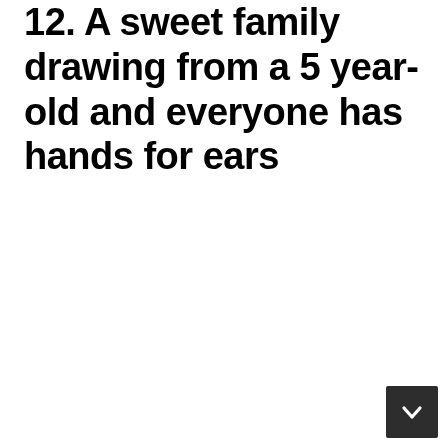12. A sweet family drawing from a 5 year-old and everyone has hands for ears
[Figure (other): Navigation button with a downward chevron arrow on a dark grey background, positioned at the bottom right corner of the page.]